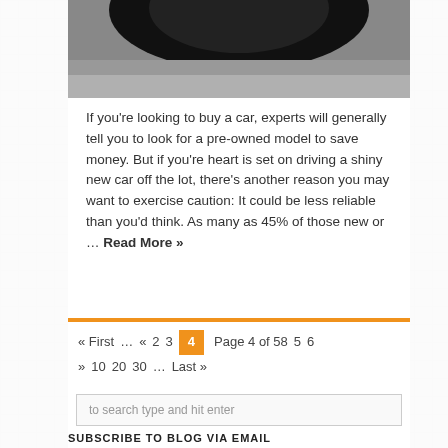[Figure (photo): Partial view of a car tire/wheel on pavement, cropped at top of page]
If you’re looking to buy a car, experts will generally tell you to look for a pre-owned model to save money. But if you’re heart is set on driving a shiny new car off the lot, there’s another reason you may want to exercise caution: It could be less reliable than you’d think. As many as 45% of those new or … Read More »
« First … « 2 3 4 Page 4 of 58 5 6 » 10 20 30 … Last »
to search type and hit enter
SUBSCRIBE TO BLOG VIA EMAIL